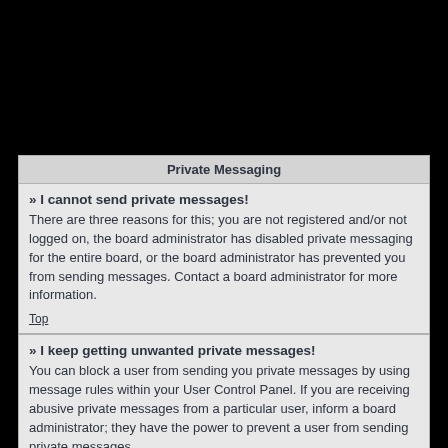Private Messaging
» I cannot send private messages!
There are three reasons for this; you are not registered and/or not logged on, the board administrator has disabled private messaging for the entire board, or the board administrator has prevented you from sending messages. Contact a board administrator for more information.
Top
» I keep getting unwanted private messages!
You can block a user from sending you private messages by using message rules within your User Control Panel. If you are receiving abusive private messages from a particular user, inform a board administrator; they have the power to prevent a user from sending private messages.
Top